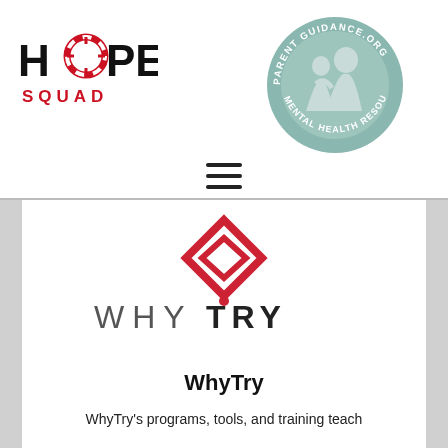[Figure (logo): Hope Squad logo with red life preserver ring replacing the letter O, and SQUAD in red letters below]
[Figure (logo): ParentGuidance.org circular badge in sage green with two adult figures and text reading PARENT GUIDANCE.ORG MENTAL HEALTH RESOURCES]
[Figure (other): Hamburger menu icon with three horizontal lines]
[Figure (logo): WhyTry logo with red diamond shape icon above the text WHYTRY in grey and dark letters]
WhyTry
WhyTry's programs, tools, and training teach